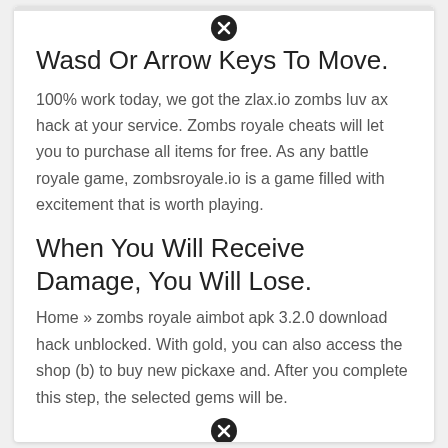Wasd Or Arrow Keys To Move.
100% work today, we got the zlax.io zombs luv ax hack at your service. Zombs royale cheats will let you to purchase all items for free. As any battle royale game, zombsroyale.io is a game filled with excitement that is worth playing.
When You Will Receive Damage, You Will Lose.
Home » zombs royale aimbot apk 3.2.0 download hack unblocked. With gold, you can also access the shop (b) to buy new pickaxe and. After you complete this step, the selected gems will be.